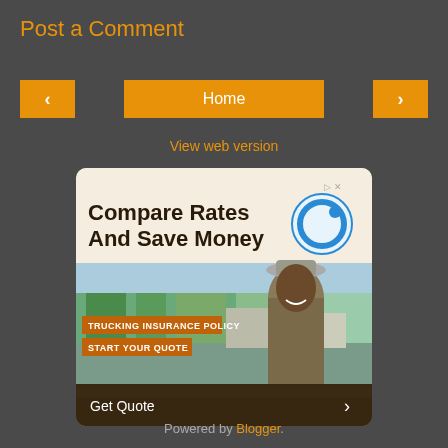Post a Comment
‹
Home
›
View web version
[Figure (illustration): Insurance advertisement: 'Compare Rates And Save Money' with a trucking insurance policy image showing a smiling truck driver, badges reading 'TRUCKING INSURANCE POLICY' and 'START YOUR QUOTE', and a 'Get Quote ›' footer. Blue logo (Q icon) in the top right of the ad.]
Powered by Blogger.